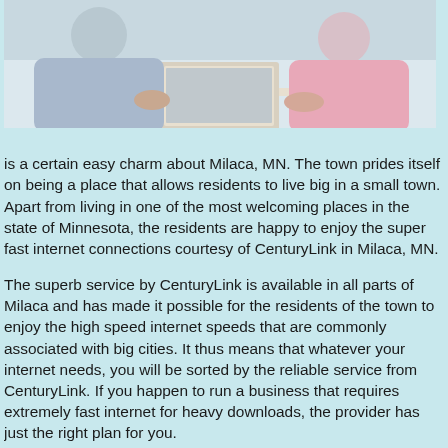[Figure (photo): Two people sitting together in front of an open laptop computer, one in a blue shirt and one in a pink top, viewed from the torso down.]
is a certain easy charm about Milaca, MN. The town prides itself on being a place that allows residents to live big in a small town. Apart from living in one of the most welcoming places in the state of Minnesota, the residents are happy to enjoy the super fast internet connections courtesy of CenturyLink in Milaca, MN.
The superb service by CenturyLink is available in all parts of Milaca and has made it possible for the residents of the town to enjoy the high speed internet speeds that are commonly associated with big cities. It thus means that whatever your internet needs, you will be sorted by the reliable service from CenturyLink. If you happen to run a business that requires extremely fast internet for heavy downloads, the provider has just the right plan for you.
The service is not just available within the town; rural residents of Henry County can also enjoy this high speed internet service. In comparison the DSL services they have been used